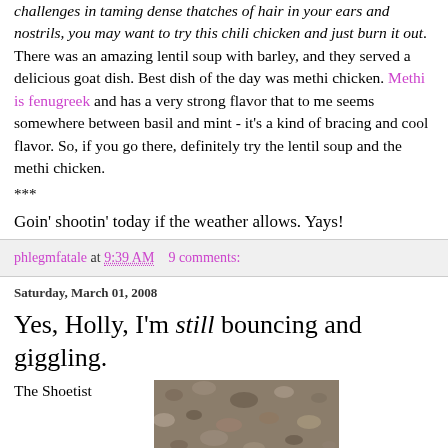challenges in taming dense thatches of hair in your ears and nostrils, you may want to try this chili chicken and just burn it out. There was an amazing lentil soup with barley, and they served a delicious goat dish. Best dish of the day was methi chicken. Methi is fenugreek and has a very strong flavor that to me seems somewhere between basil and mint - it's a kind of bracing and cool flavor. So, if you go there, definitely try the lentil soup and the methi chicken.
***
Goin' shootin' today if the weather allows. Yays!
phlegmfatale at 9:39 AM   9 comments:
Saturday, March 01, 2008
Yes, Holly, I'm still bouncing and giggling.
The Shoetist
Here's what
[Figure (photo): Close-up photo of gravel or rocky ground texture]